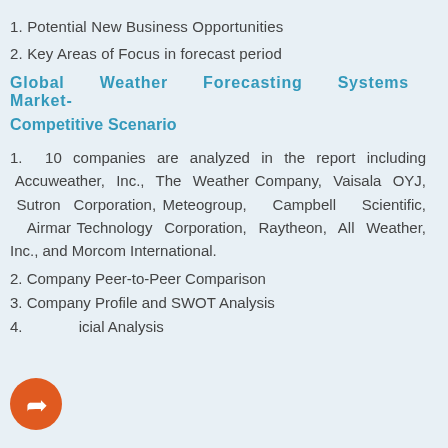1. Potential New Business Opportunities
2. Key Areas of Focus in forecast period
Global Weather Forecasting Systems Market- Competitive Scenario
1. 10 companies are analyzed in the report including Accuweather, Inc., The Weather Company, Vaisala OYJ, Sutron Corporation, Meteogroup, Campbell Scientific, Airmar Technology Corporation, Raytheon, All Weather, Inc., and Morcom International.
2. Company Peer-to-Peer Comparison
3. Company Profile and SWOT Analysis
4. Financial Analysis